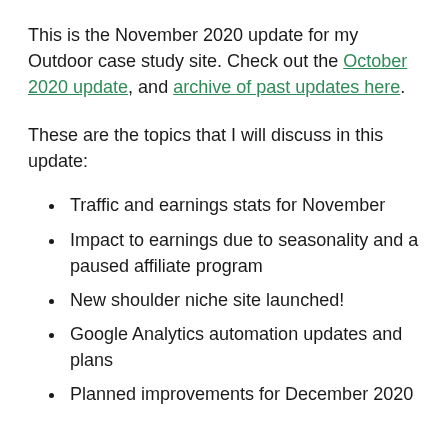This is the November 2020 update for my Outdoor case study site. Check out the October 2020 update, and archive of past updates here.
These are the topics that I will discuss in this update:
Traffic and earnings stats for November
Impact to earnings due to seasonality and a paused affiliate program
New shoulder niche site launched!
Google Analytics automation updates and plans
Planned improvements for December 2020